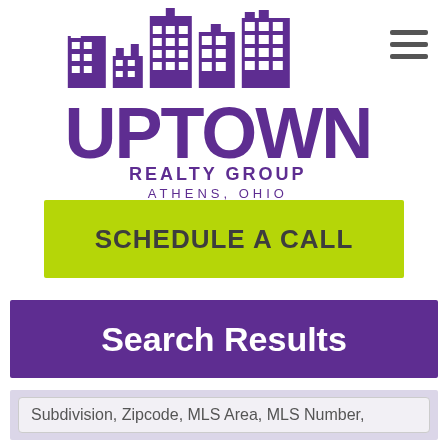[Figure (logo): Uptown Realty Group Athens, Ohio logo — purple stylized cityscape buildings above bold purple UPTOWN text, with REALTY GROUP and ATHENS, OHIO below]
[Figure (other): Hamburger menu icon — three horizontal dark grey bars stacked vertically]
SCHEDULE A CALL
Search Results
Subdivision, Zipcode, MLS Area, MLS Number,